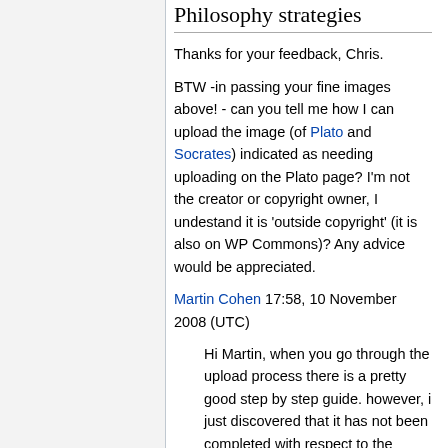Philosophy strategies
Thanks for your feedback, Chris.
BTW -in passing your fine images above! - can you tell me how I can upload the image (of Plato and Socrates) indicated as needing uploading on the Plato page? I'm not the creator or copyright owner, I undestand it is 'outside copyright' (it is also on WP Commons)? Any advice would be appreciated.
Martin Cohen 17:58, 10 November 2008 (UTC)
Hi Martin, when you go through the upload process there is a pretty good step by step guide. however, i just discovered that it has not been completed with respect to the public domain content (drop down menu